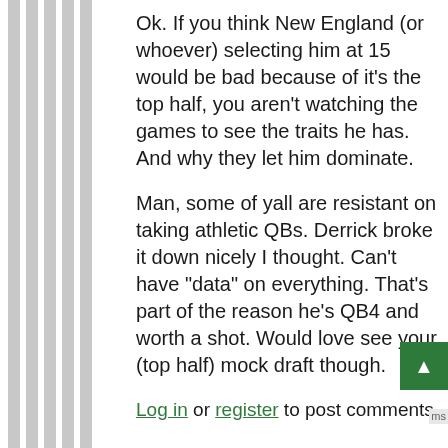Ok. If you think New England (or whoever) selecting him at 15 would be bad because of it's the top half, you aren't watching the games to see the traits he has. And why they let him dominate.
Man, some of yall are resistant on taking athletic QBs. Derrick broke it down nicely I thought. Can't have "data" on everything. That's part of the reason he's QB4 and worth a shot. Would love see your (top half) mock draft though.
Log in or register to post comments